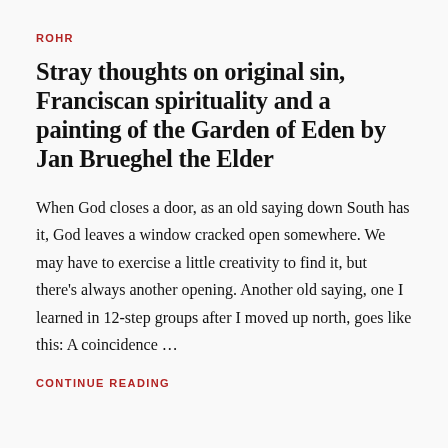ROHR
Stray thoughts on original sin, Franciscan spirituality and a painting of the Garden of Eden by Jan Brueghel the Elder
When God closes a door, as an old saying down South has it, God leaves a window cracked open somewhere. We may have to exercise a little creativity to find it, but there’s always another opening. Another old saying, one I learned in 12-step groups after I moved up north, goes like this: A coincidence …
CONTINUE READING